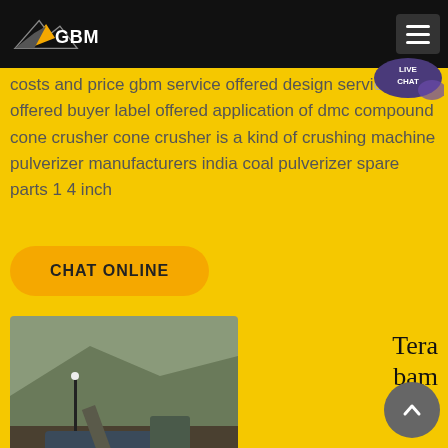GBM
costs and price gbm service offered design service offered buyer label offered application of dmc compound cone crusher cone crusher is a kind of crushing machine pulverizer manufacturers india coal pulverizer spare parts 1 4 inch
CHAT ONLINE
[Figure (photo): Industrial mining/milling machinery including ball mills and crushing equipment, set against a hillside backdrop]
Tera bam